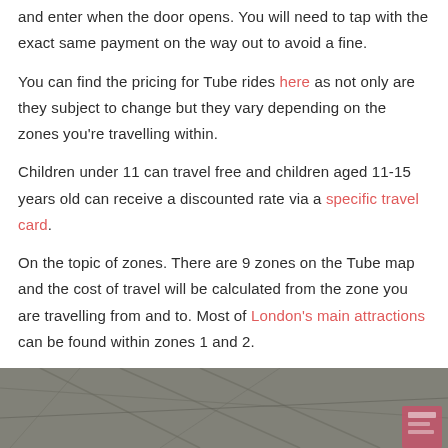and enter when the door opens. You will need to tap with the exact same payment on the way out to avoid a fine.
You can find the pricing for Tube rides here as not only are they subject to change but they vary depending on the zones you're travelling within.
Children under 11 can travel free and children aged 11-15 years old can receive a discounted rate via a specific travel card.
On the topic of zones. There are 9 zones on the Tube map and the cost of travel will be calculated from the zone you are travelling from and to. Most of London's main attractions can be found within zones 1 and 2.
[Figure (photo): A map or aerial/street image of London, partially visible at the bottom of the page, with muted grey-green tones and a small pink/red element in the bottom right corner.]